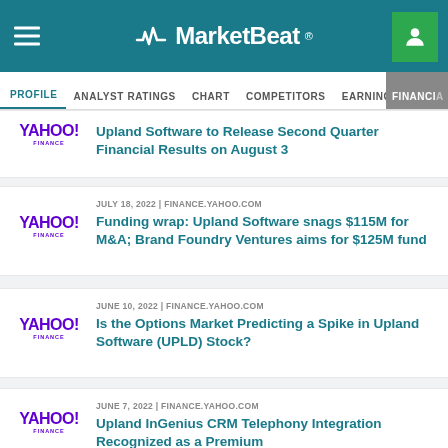MarketBeat
PROFILE | ANALYST RATINGS | CHART | COMPETITORS | EARNINGS | FINANCIAL
Upland Software to Release Second Quarter Financial Results on August 3
JULY 18, 2022 | FINANCE.YAHOO.COM — Funding wrap: Upland Software snags $115M for M&A; Brand Foundry Ventures aims for $125M fund
JUNE 10, 2022 | FINANCE.YAHOO.COM — Is the Options Market Predicting a Spike in Upland Software (UPLD) Stock?
JUNE 7, 2022 | FINANCE.YAHOO.COM — Upland InGenius CRM Telephony Integration Recognized as a Premium